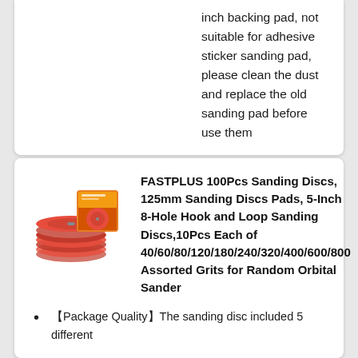inch backing pad, not suitable for adhesive sticker sanding pad, please clean the dust and replace the old sanding pad before use them
[Figure (photo): Red sanding discs product photo with orange box packaging]
FASTPLUS 100Pcs Sanding Discs, 125mm Sanding Discs Pads, 5-Inch 8-Hole Hook and Loop Sanding Discs,10Pcs Each of 40/60/80/120/180/240/320/400/600/800 Assorted Grits for Random Orbital Sander
【Package Quality】The sanding disc included 5 different